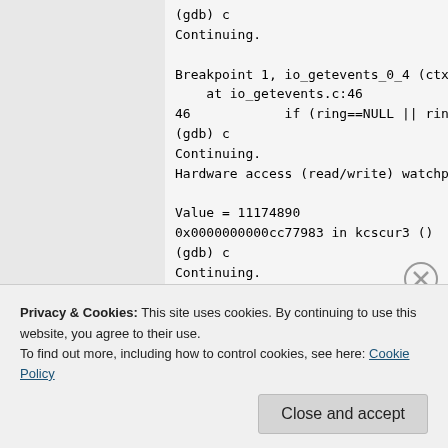(gdb) c
Continuing.

Breakpoint 1, io_getevents_0_4 (ctx=0...
    at io_getevents.c:46
46              if (ring==NULL || rin...
(gdb) c
Continuing.
Hardware access (read/write) watchpoi...

Value = 11174890
0x0000000000cc77983 in kcscur3 ()
(gdb) c
Continuing.
Hardware access (read/write) watchpoi...

Value = 11174890
Privacy & Cookies: This site uses cookies. By continuing to use this website, you agree to their use.
To find out more, including how to control cookies, see here: Cookie Policy